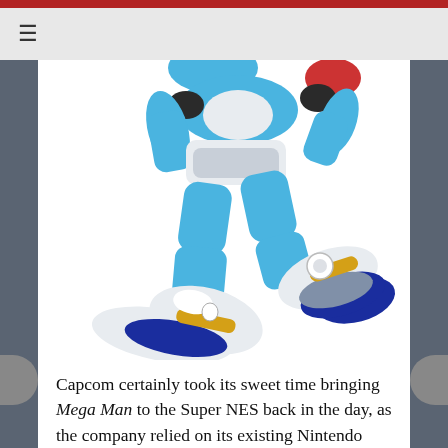≡
[Figure (illustration): Mega Man X character illustration showing the lower body/legs of the robot character in blue and white armor with yellow accents on the boots, jumping pose against white background]
Capcom certainly took its sweet time bringing Mega Man to the Super NES back in the day, as the company relied on its existing Nintendo